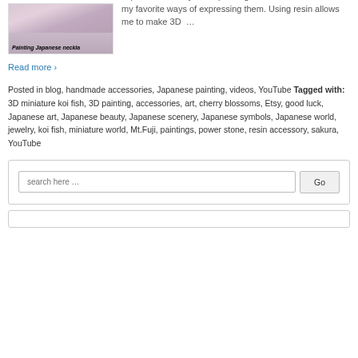[Figure (photo): Partial image of Japanese necklace accessories with decorative oval beads, caption reads 'Painting Japanese neckla']
Japanese scenery in 3D paintings in accessories is one of my favorite ways of expressing them. Using resin allows me to make 3D …
Read more ›
Posted in blog, handmade accessories, Japanese painting, videos, YouTube Tagged with: 3D miniature koi fish, 3D painting, accessories, art, cherry blossoms, Etsy, good luck, Japanese art, Japanese beauty, Japanese scenery, Japanese symbols, Japanese world, jewelry, koi fish, miniature world, Mt.Fuji, paintings, power stone, resin accessory, sakura, YouTube